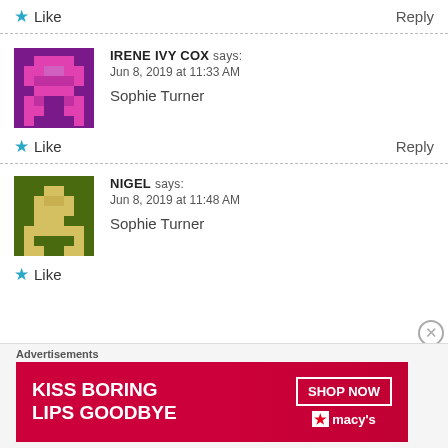★ Like
Reply
[Figure (illustration): Pixel art avatar for Irene Ivy Cox, magenta and purple pixel character on purple background]
IRENE IVY COX says:
Jun 8, 2019 at 11:33 AM
Sophie Turner
★ Like
Reply
[Figure (illustration): Pixel art avatar for Nigel, yellow/tan pixel character on dark green background]
NIGEL says:
Jun 8, 2019 at 11:48 AM
Sophie Turner
★ Like
Advertisements
KISS BORING LIPS GOODBYE  SHOP NOW  ★ macy's